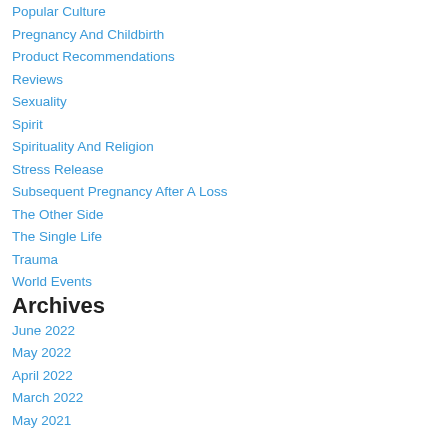Popular Culture
Pregnancy And Childbirth
Product Recommendations
Reviews
Sexuality
Spirit
Spirituality And Religion
Stress Release
Subsequent Pregnancy After A Loss
The Other Side
The Single Life
Trauma
World Events
Archives
June 2022
May 2022
April 2022
March 2022
May 2021